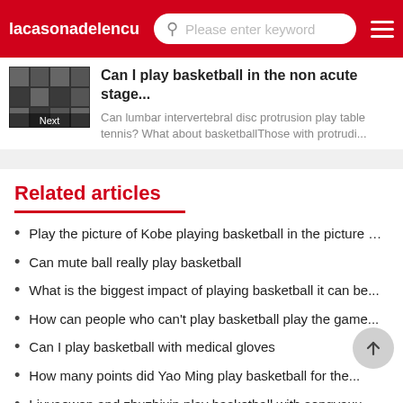lacasonadelencu... Please enter keyword
Can I play basketball in the non acute stage...
Can lumbar intervertebral disc protrusion play table tennis? What about basketballThose with protrudi...
Related articles
Play the picture of Kobe playing basketball in the picture …
Can mute ball really play basketball
What is the biggest impact of playing basketball it can be...
How can people who can't play basketball play the game...
Can I play basketball with medical gloves
How many points did Yao Ming play basketball for the...
Liuyaowen and zhuzhixin play basketball with songyaxu...
What are the feelings of playing basketball as a team sport